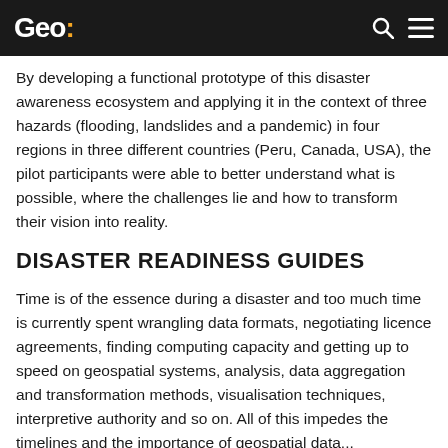Geo:
By developing a functional prototype of this disaster awareness ecosystem and applying it in the context of three hazards (flooding, landslides and a pandemic) in four regions in three different countries (Peru, Canada, USA), the pilot participants were able to better understand what is possible, where the challenges lie and how to transform their vision into reality.
DISASTER READINESS GUIDES
Time is of the essence during a disaster and too much time is currently spent wrangling data formats, negotiating licence agreements, finding computing capacity and getting up to speed on geospatial systems, analysis, data aggregation and transformation methods, visualisation techniques, interpretive authority and so on. All of this impedes the timelines and the importance of geospatial data...